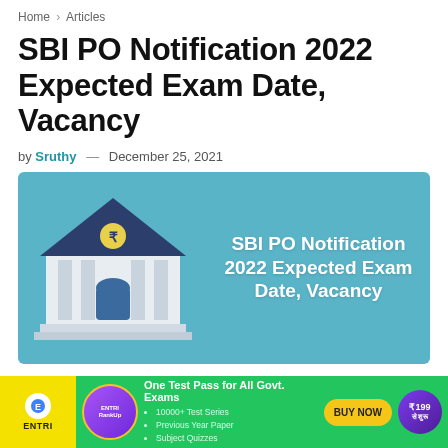Home > Articles
SBI PO Notification 2022 Expected Exam Date, Vacancy
by Sruthy — December 25, 2021
[Figure (illustration): Banner image with blue background, a bank building illustration on the left and text 'SBI PO Notification 2022 Expected Exam Date, Vacancy' in white bold on the right]
[Figure (infographic): Advertisement banner: ENTRI RankUp - One Test Pass for All Govt. Exams. 10000+ Test Series, Previous Year Paper, Subject Quizzes. BUY NOW button. ₹199 से शुरू]